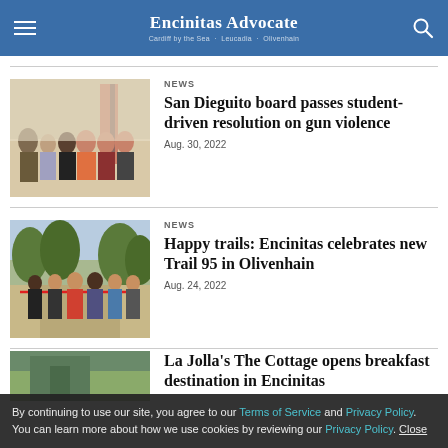Encinitas Advocate — Cardif by the Sea · Leucadia · Olivenhain
[Figure (photo): Group photo of students and adults holding papers in a room, with an American flag in background.]
NEWS
San Dieguito board passes student-driven resolution on gun violence
Aug. 30, 2022
[Figure (photo): People at a ribbon cutting ceremony for a trail, outdoors among trees.]
NEWS
Happy trails: Encinitas celebrates new Trail 95 in Olivenhain
Aug. 24, 2022
[Figure (photo): Partially visible photo of a restaurant or cottage exterior.]
La Jolla's The Cottage opens breakfast destination in Encinitas
By continuing to use our site, you agree to our Terms of Service and Privacy Policy. You can learn more about how we use cookies by reviewing our Privacy Policy. Close